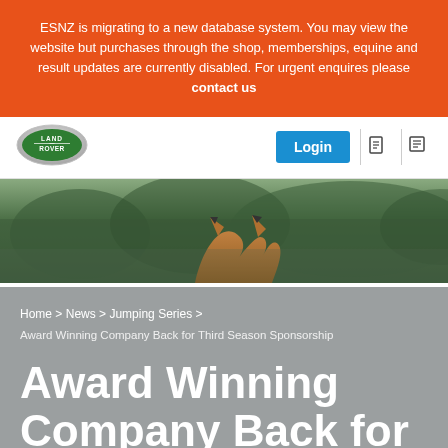ESNZ is migrating to a new database system. You may view the website but purchases through the shop, memberships, equine and result updates are currently disabled. For urgent enquires please contact us
[Figure (logo): Land Rover oval logo in green with silver border]
[Figure (photo): Hero image showing horse ears against green forested background]
Home > News > Jumping Series > Award Winning Company Back for Third Season Sponsorship
Award Winning Company Back for